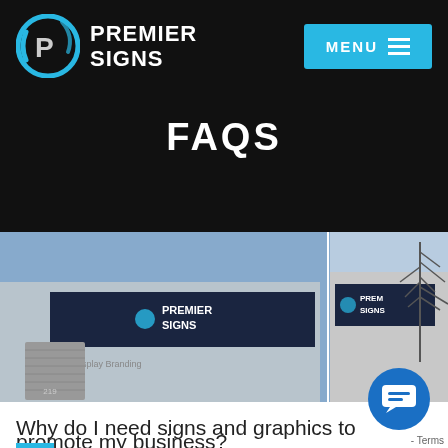[Figure (logo): Premier Signs logo with blue circular P icon and white bold text PREMIER SIGNS on black background]
FAQS
[Figure (photo): Two photos of Premier Signs building exterior with signage reading PREMIER SIGNS and Graphics Display Branding]
Why do I need signs and graphics to promote my business?